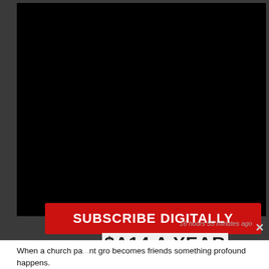[Figure (screenshot): Black video player area embedded in a dark gray interface]
SUBSCRIBE DIGITALLY
$A14 A YEAR
16 hours 55 minutes ago
When a church pa... becomes friends something profound happens.